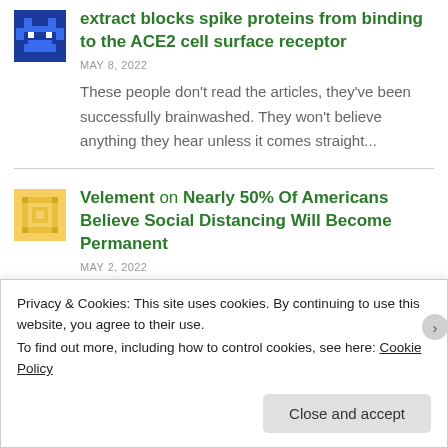extract blocks spike proteins from binding to the ACE2 cell surface receptor
MAY 8, 2022
These people don't read the articles, they've been successfully brainwashed. They won't believe anything they hear unless it comes straight...
Velement on Nearly 50% Of Americans Believe Social Distancing Will Become Permanent
MAY 2, 2022
Privacy & Cookies: This site uses cookies. By continuing to use this website, you agree to their use.
To find out more, including how to control cookies, see here: Cookie Policy